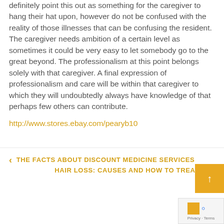definitely point this out as something for the caregiver to hang their hat upon, however do not be confused with the reality of those illnesses that can be confusing the resident. The caregiver needs ambition of a certain level as sometimes it could be very easy to let somebody go to the great beyond. The professionalism at this point belongs solely with that caregiver. A final expression of professionalism and care will be within that caregiver to which they will undoubtedly always have knowledge of that perhaps few others can contribute.
http://www.stores.ebay.com/pearyb10
< THE FACTS ABOUT DISCOUNT MEDICINE SERVICES
HAIR LOSS: CAUSES AND HOW TO TREAT IT >
TiMagazine By ThemeTim